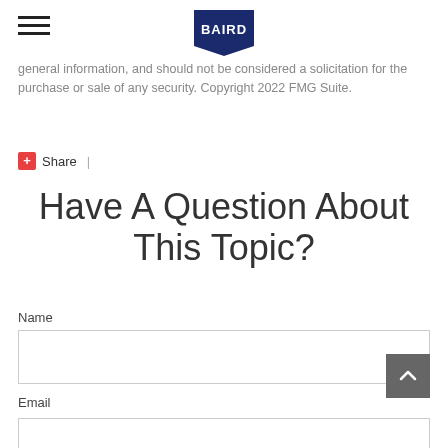Baird
general information, and should not be considered a solicitation for the purchase or sale of any security. Copyright 2022 FMG Suite.
Share |
Have A Question About This Topic?
Name
Email